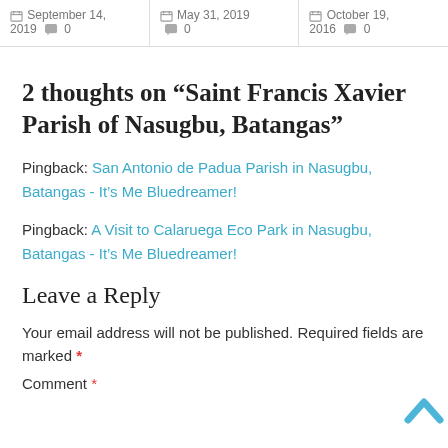September 14, 2019  0 | May 31, 2019  0 | October 19, 2016  0
2 thoughts on “Saint Francis Xavier Parish of Nasugbu, Batangas”
Pingback: San Antonio de Padua Parish in Nasugbu, Batangas - It’s Me Bluedreamer!
Pingback: A Visit to Calaruega Eco Park in Nasugbu, Batangas - It’s Me Bluedreamer!
Leave a Reply
Your email address will not be published. Required fields are marked *
Comment *